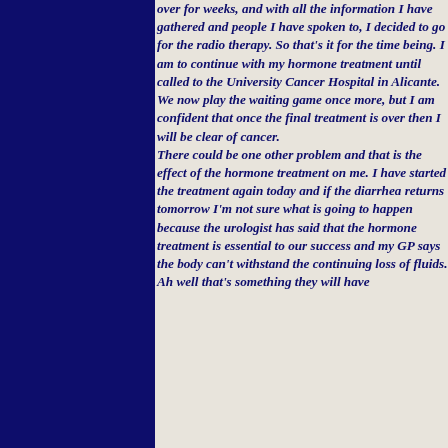over for weeks, and with all the information I have gathered and people I have spoken to, I decided to go for the radio therapy. So that's it for the time being. I am to continue with my hormone treatment until called to the University Cancer Hospital in Alicante. We now play the waiting game once more, but I am confident that once the final treatment is over then I will be clear of cancer. There could be one other problem and that is the effect of the hormone treatment on me. I have started the treatment again today and if the diarrhea returns tomorrow I'm not sure what is going to happen because the urologist has said that the hormone treatment is essential to our success and my GP says the body can't withstand the continuing loss of fluids. Ah well that's something they will have